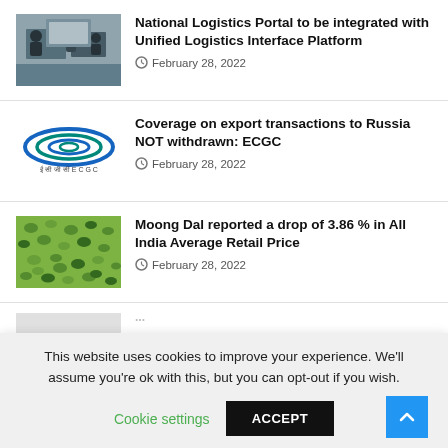National Logistics Portal to be integrated with Unified Logistics Interface Platform
February 28, 2022
[Figure (photo): Photo of a meeting or conference with people at a table]
Coverage on export transactions to Russia NOT withdrawn: ECGC
February 28, 2022
[Figure (logo): ECGC logo with blue oval rings and Hindi/English text]
Moong Dal reported a drop of 3.86 % in All India Average Retail Price
February 28, 2022
[Figure (photo): Photo of green moong dal/lentils]
This website uses cookies to improve your experience. We'll assume you're ok with this, but you can opt-out if you wish.
Cookie settings
ACCEPT